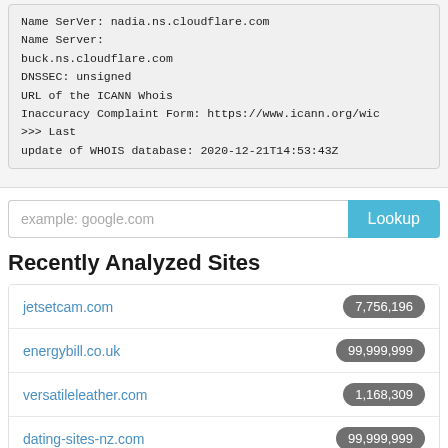Name SerVer: nadia.ns.cloudflare.com
Name Server:
buck.ns.cloudflare.com
DNSSEC: unsigned
URL of the ICANN Whois
Inaccuracy Complaint Form: https://www.icann.org/wic
>>> Last
update of WHOIS database: 2020-12-21T14:53:43Z
[Figure (screenshot): Search input field with placeholder 'example: google.com' and a blue 'Lookup' button]
Recently Analyzed Sites
| Site | Value |
| --- | --- |
| jetsetcam.com | 7,756,196 |
| energybill.co.uk | 99,999,999 |
| versatileleather.com | 1,168,309 |
| dating-sites-nz.com | 99,999,999 |
| gbc.com.qa | 2,592,387 |
| smmneed.com | 647,595 |